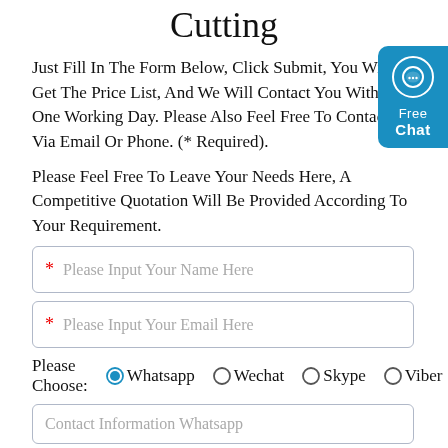Cutting
Just Fill In The Form Below, Click Submit, You Will Get The Price List, And We Will Contact You Within One Working Day. Please Also Feel Free To Contact Us Via Email Or Phone. (* Required).
Please Feel Free To Leave Your Needs Here, A Competitive Quotation Will Be Provided According To Your Requirement.
* Please Input Your Name Here
* Please Input Your Email Here
Please Choose:  ● Whatsapp  ○ Wechat  ○ Skype  ○ Viber
Contact Information Whatsapp